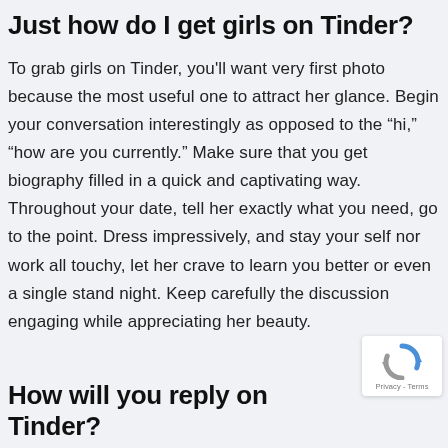Just how do I get girls on Tinder?
To grab girls on Tinder, you'll want very first photo because the most useful one to attract her glance. Begin your conversation interestingly as opposed to the “hi,” “how are you currently.” Make sure that you get biography filled in a quick and captivating way. Throughout your date, tell her exactly what you need, go to the point. Dress impressively, and stay your self nor work all touchy, let her crave to learn you better or even a single stand night. Keep carefully the discussion engaging while appreciating her beauty.
[Figure (logo): reCAPTCHA badge with circular arrow logo and Privacy - Terms text]
How will you reply on Tinder?